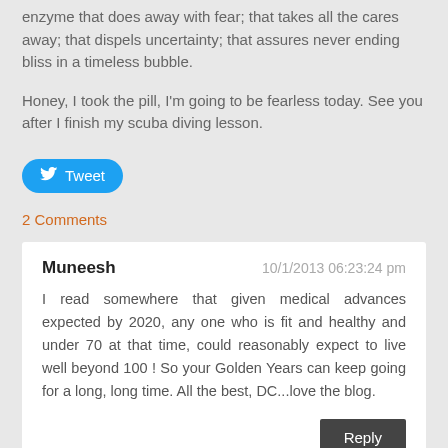enzyme that does away with fear; that takes all the cares away; that dispels uncertainty; that assures never ending bliss in a timeless bubble.
Honey, I took the pill, I'm going to be fearless today. See you after I finish my scuba diving lesson.
[Figure (other): Blue Twitter Tweet button with bird icon]
2 Comments
Muneesh
10/1/2013 06:23:24 pm
I read somewhere that given medical advances expected by 2020, any one who is fit and healthy and under 70 at that time, could reasonably expect to live well beyond 100 ! So your Golden Years can keep going for a long, long time. All the best, DC...love the blog.
Reply